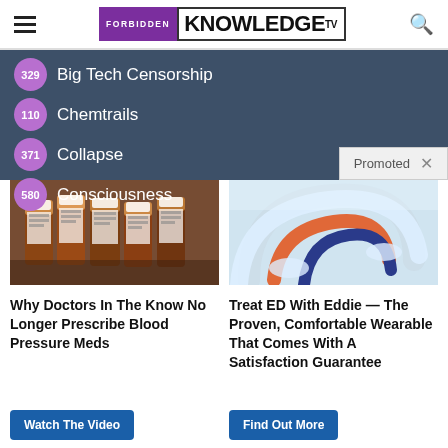FORBIDDEN KNOWLEDGE TV
329 Big Tech Censorship
110 Chemtrails
371 Collapse
580 Consciousness
Promoted
[Figure (photo): Several prescription pill bottles with brown/amber colored containers]
Why Doctors In The Know No Longer Prescribe Blood Pressure Meds
Watch The Video
[Figure (photo): White plastic wearable device with orange and navy blue loops/bands]
Treat ED With Eddie — The Proven, Comfortable Wearable That Comes With A Satisfaction Guarantee
Find Out More